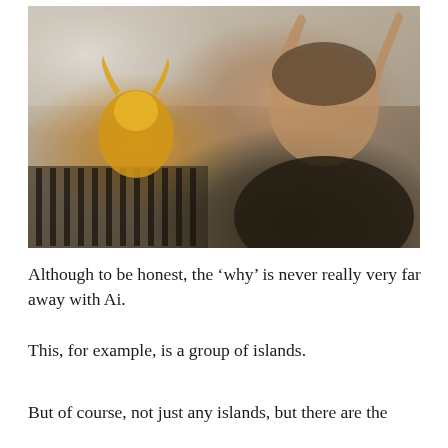[Figure (photo): A woman making 'devil horns' gesture with both hands raised behind her head, posing next to a golden animal head sculpture (resembling a goat or ram). The setting appears to be an interior room with a radiator and white walls. The woman is wearing a black sleeveless top.]
Although to be honest, the ‘why’ is never really very far away with Ai.
This, for example, is a group of islands.
But of course, not just any islands, but there are the...